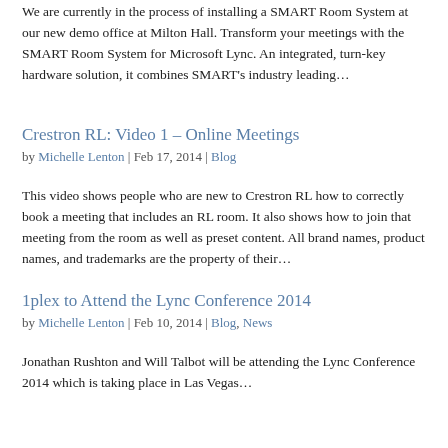We are currently in the process of installing a SMART Room System at our new demo office at Milton Hall. Transform your meetings with the SMART Room System for Microsoft Lync. An integrated, turn-key hardware solution, it combines SMART's industry leading…
Crestron RL: Video 1 – Online Meetings
by Michelle Lenton | Feb 17, 2014 | Blog
This video shows people who are new to Crestron RL how to correctly book a meeting that includes an RL room. It also shows how to join that meeting from the room as well as preset content. All brand names, product names, and trademarks are the property of their…
1plex to Attend the Lync Conference 2014
by Michelle Lenton | Feb 10, 2014 | Blog, News
Jonathan Rushton and Will Talbot will be attending the Lync Conference 2014 which is taking place in Las Vegas…